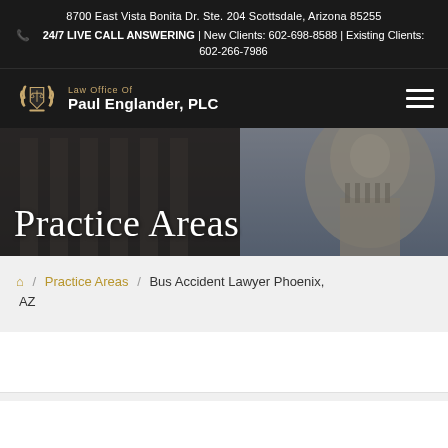8700 East Vista Bonita Dr. Ste. 204 Scottsdale, Arizona 85255
24/7 LIVE CALL ANSWERING | New Clients: 602-698-8588 | Existing Clients: 602-266-7986
[Figure (logo): Law Office of Paul Englander, PLC logo with scales of justice emblem]
Practice Areas
Home / Practice Areas / Bus Accident Lawyer Phoenix, AZ